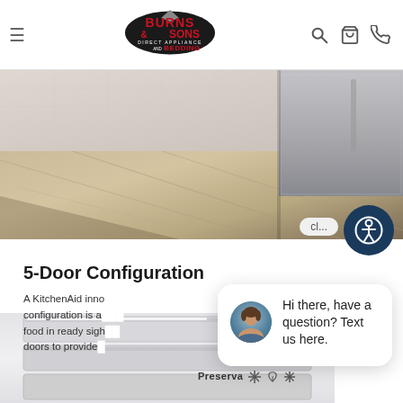[Figure (screenshot): Burns & Sons Direct Appliance and Bedding website header with hamburger menu, logo, search icon, cart icon, and phone icon]
[Figure (photo): Product photo showing kitchen floor/appliance area with wood-look flooring and stainless appliance panel]
5-Door Configuration
A KitchenAid inno... configuration is a... food in ready sigh... doors to provide...
[Figure (screenshot): Chat popup with agent avatar and text: Hi there, have a question? Text us here.]
[Figure (photo): Bottom portion of refrigerator product image showing Preserva drawer with icons]
[Figure (other): Blue circular chat FAB button with message icon]